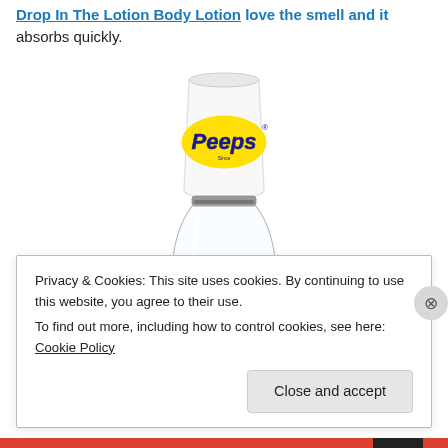Drop In The Lotion Body Lotion love the smell and it absorbs quickly.
[Figure (photo): A white hourglass-shaped lotion dispenser bottle with the Peeps brand logo (blue text on yellow oval background) printed on the upper white cup portion. The bottle is clear/transparent on the lower section.]
Privacy & Cookies: This site uses cookies. By continuing to use this website, you agree to their use.
To find out more, including how to control cookies, see here: Cookie Policy
Close and accept